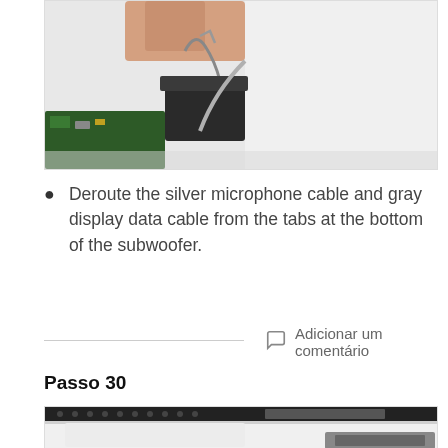[Figure (photo): Close-up photo of a hand holding a cable connector above electronics components with a black clip/connector visible]
Deroute the silver microphone cable and gray display data cable from the tabs at the bottom of the subwoofer.
Adicionar um comentário
Passo 30
[Figure (photo): Photo showing the bottom edge of a laptop/device with black screw holes strip at top and white/silver body with a connector visible at bottom right]